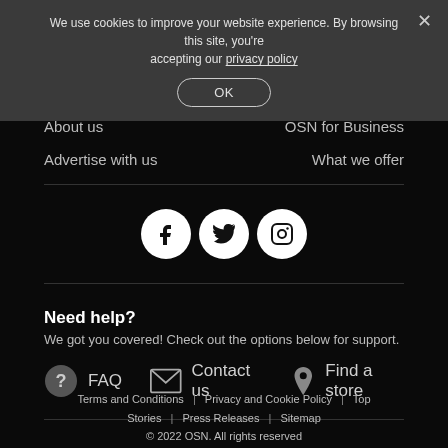We use cookies to improve your website experience. By browsing this site, you're accepting our privacy policy
OK
About us
OSN for Business
Advertise with us
What we offer
[Figure (logo): Social media icons: Facebook, Twitter, Instagram (white circles on black background)]
Need help?
We got you covered! Check out the options below for support.
FAQ
Contact us
Find a store
Terms and Conditions | Privacy and Cookie Policy | Top Stories | Press Releases | Sitemap
© 2022 OSN. All rights reserved